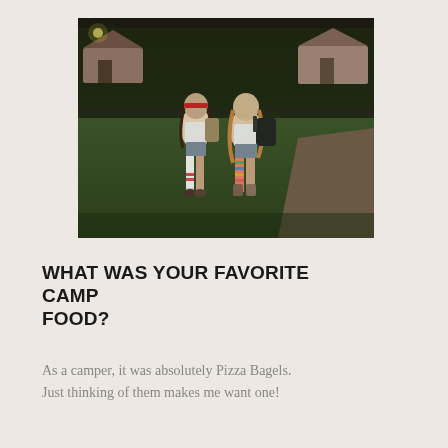[Figure (photo): Two teenage girls standing outdoors at a summer camp at dusk. The girl on the left wears a red headband, white t-shirt, denim shorts, white knee-high socks with red stripes, and sandals, with a backpack. The girl on the right wears a white t-shirt, denim shorts, colorful striped knee-high socks, boots, and carries a black bag. Camp cabins and trees visible in the background.]
WHAT WAS YOUR FAVORITE CAMP FOOD?
As a camper, it was absolutely Pizza Bagels. Just thinking of them makes me want one!